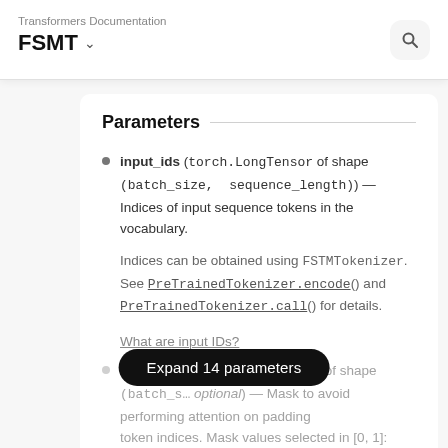Transformers Documentation
FSMT
Parameters
input_ids (torch.LongTensor of shape (batch_size, sequence_length)) — Indices of input sequence tokens in the vocabulary.

Indices can be obtained using FSTMTokenizer. See PreTrainedTokenizer.encode() and PreTrainedTokenizer.call() for details.

What are input IDs?
attention_mask (torch.Tensor of shape (batch_size, ..., optional) — Mask to avoid performing attention on padding token indices. Mask values selected in [0, 1]: